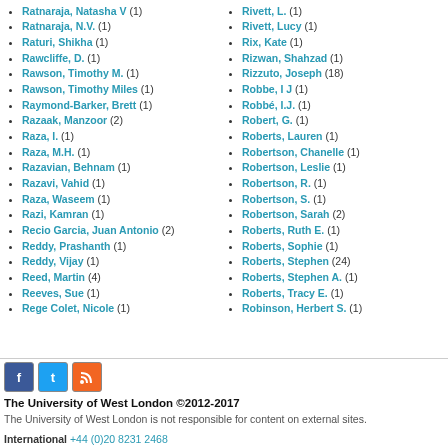Ratnaraja, Natasha V (1)
Ratnaraja, N.V. (1)
Raturi, Shikha (1)
Rawcliffe, D. (1)
Rawson, Timothy M. (1)
Rawson, Timothy Miles (1)
Raymond-Barker, Brett (1)
Razaak, Manzoor (2)
Raza, I. (1)
Raza, M.H. (1)
Razavian, Behnam (1)
Razavi, Vahid (1)
Raza, Waseem (1)
Razi, Kamran (1)
Recio Garcia, Juan Antonio (2)
Reddy, Prashanth (1)
Reddy, Vijay (1)
Reed, Martin (4)
Reeves, Sue (1)
Rege Colet, Nicole (1)
Rivett, L. (1)
Rivett, Lucy (1)
Rix, Kate (1)
Rizwan, Shahzad (1)
Rizzuto, Joseph (18)
Robbe, I J (1)
Robbé, I.J. (1)
Robert, G. (1)
Roberts, Lauren (1)
Robertson, Chanelle (1)
Robertson, Leslie (1)
Robertson, R. (1)
Robertson, S. (1)
Robertson, Sarah (2)
Roberts, Ruth E. (1)
Roberts, Sophie (1)
Roberts, Stephen (24)
Roberts, Stephen A. (1)
Roberts, Tracy E. (1)
Robinson, Herbert S. (1)
The University of West London ©2012-2017
The University of West London is not responsible for content on external sites.
International +44 (0)20 8231 2468
Locations West London campus in Ealing and Brentford, and the Berkshire Hub